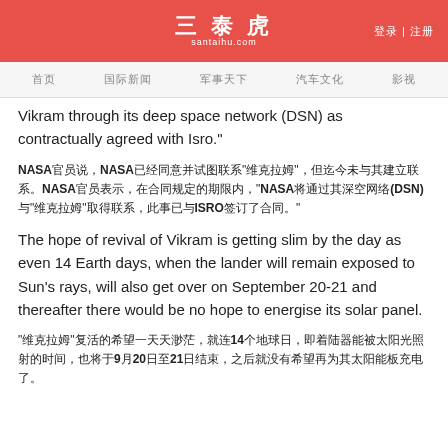三泰虎 santaihu.com 登录 | 注册
首页 国际新闻 军事天下 汽车文化 影视
Vikram through its deep space network (DSN) as contractually agreed with Isro."
NASA官员说，NASA已经同意并试图联系"维克拉姆"，但迄今未与其建立联系。NASA官员表示，在合同规定的期限内，"NASA将通过其深空网络(DSN)与"维克拉姆"取得联系，此事已与ISRO签订了合同。"
The hope of revival of Vikram is getting slim by the day as even 14 Earth days, when the lander will remain exposed to Sun's rays, will also get over on September 20-21 and thereafter there would be no hope to energise its solar panel.
"维克拉姆"复活的希望一天天渺茫，就连14个地球日，即着陆器能被太阳光照射的时间，也将于9月20日至21日结束，之后就没有希望再为其太阳能板充电了。